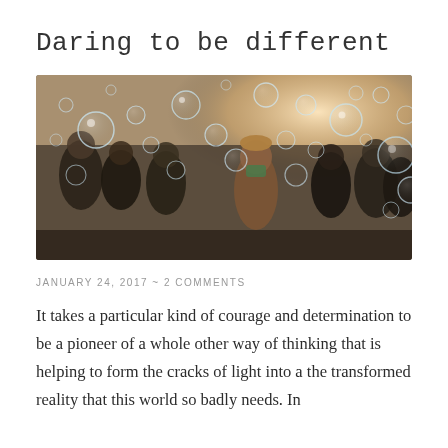Daring to be different
[Figure (photo): A woman in a brown coat and hat blowing bubbles in a crowd of people outdoors; many soap bubbles fill the air in front of a bright sunlit background]
JANUARY 24, 2017  ~  2 COMMENTS
It takes a particular kind of courage and determination to be a pioneer of a whole other way of thinking that is helping to form the cracks of light into a the transformed reality that this world so badly needs. In